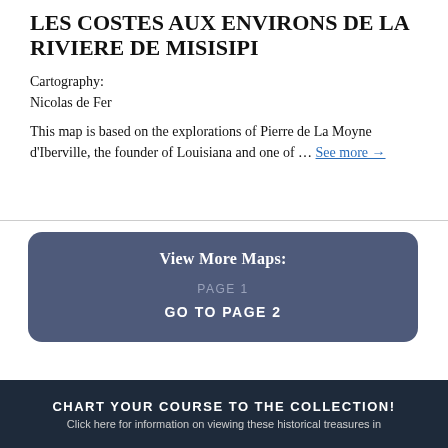LES COSTES AUX ENVIRONS DE LA RIVIERE DE MISISIPI
Cartography:
Nicolas de Fer
This map is based on the explorations of Pierre de La Moyne d'Iberville, the founder of Louisiana and one of … See more →
View More Maps:
PAGE 1
GO TO PAGE 2
CHART YOUR COURSE TO THE COLLECTION! Click here for information on viewing these historical treasures in